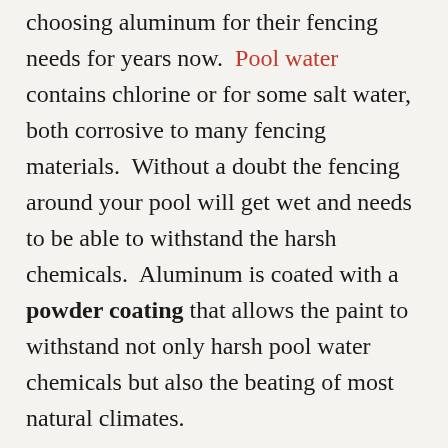choosing aluminum for their fencing needs for years now. Pool water contains chlorine or for some salt water, both corrosive to many fencing materials. Without a doubt the fencing around your pool will get wet and needs to be able to withstand the harsh chemicals. Aluminum is coated with a powder coating that allows the paint to withstand not only harsh pool water chemicals but also the beating of most natural climates.

Another reason that aluminum is used when fencing in swimming pools is because of its overall reputation for safety. In a pool setting the number one concern is safety and aluminum fencing and gates provide both. Aluminum pool gates from